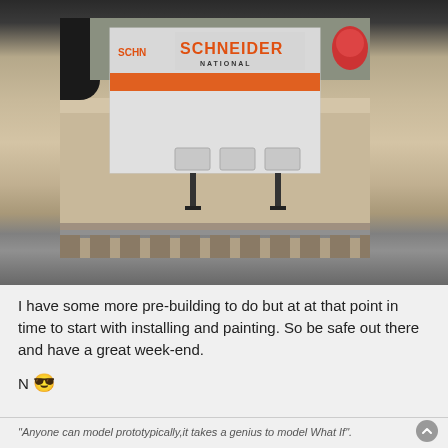[Figure (photo): A model railroad scene showing a Schneider National white semi-truck trailer with orange stripe, standing on model train tracks with a beige/sand-colored ground surface. The trailer displays the Schneider National logo in orange and black text. Model railroad tracks are visible in the foreground.]
I have some more pre-building to do but at at that point in time to start with installing and painting. So be safe out there and have a great week-end.
N 😎
"Anyone can model prototypically,it takes a genius to model What If".